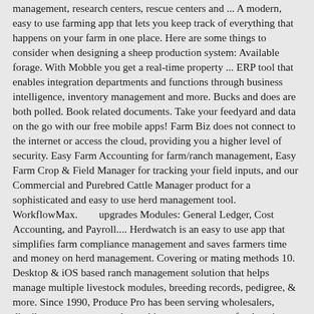management, research centers, rescue centers and ... A modern, easy to use farming app that lets you keep track of everything that happens on your farm in one place. Here are some things to consider when designing a sheep production system: Available forage. With Mobble you get a real-time property ... ERP tool that enables integration departments and functions through business intelligence, inventory management and more. Bucks and does are both polled. Book related documents. Take your feedyard and data on the go with our free mobile apps! Farm Biz does not connect to the internet or access the cloud, providing you a higher level of security. Easy Farm Accounting for farm/ranch management, Easy Farm Crop & Field Manager for tracking your field inputs, and our Commercial and Purebred Cattle Manager product for a sophisticated and easy to use herd management tool. WorkflowMax.        upgrades Modules: General Ledger, Cost Accounting, and Payroll.... Herdwatch is an easy to use app that simplifies farm compliance management and saves farmers time and money on herd management. Covering or mating methods 10. Desktop & iOS based ranch management solution that helps manage multiple livestock modules, breeding records, pedigree, & more. Since 1990, Produce Pro has been serving wholesalers, distributors, growers, packers, shippers, processors, foodservice, and terminal markets; leveraging cutting edge of traceability, powerful